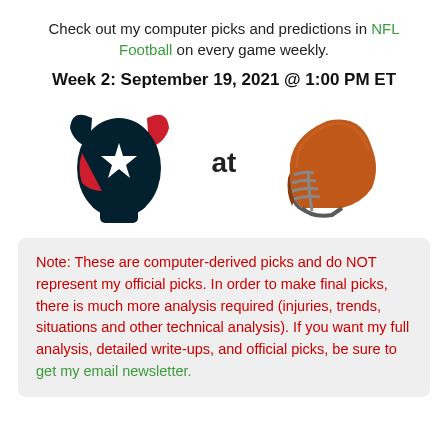Check out my computer picks and predictions in NFL Football on every game weekly.
Week 2: September 19, 2021 @ 1:00 PM ET
[Figure (illustration): Houston Texans logo (left) and Cleveland Browns helmet (right) with 'at' text in between]
Note: These are computer-derived picks and do NOT represent my official picks. In order to make final picks, there is much more analysis required (injuries, trends, situations and other technical analysis). If you want my full analysis, detailed write-ups, and official picks, be sure to get my email newsletter.